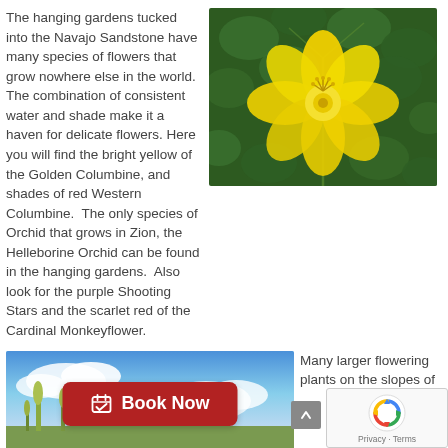The hanging gardens tucked into the Navajo Sandstone have many species of flowers that grow nowhere else in the world. The combination of consistent water and shade make it a haven for delicate flowers. Here you will find the bright yellow of the Golden Columbine, and shades of red Western Columbine.  The only species of Orchid that grows in Zion, the Helleborine Orchid can be found in the hanging gardens.  Also look for the purple Shooting Stars and the scarlet red of the Cardinal Monkeyflower.
[Figure (photo): Yellow flower (Golden Columbine) against green foliage background]
[Figure (photo): Landscape photo of sky and plants with a red 'Book Now' button overlay]
Many larger flowering plants on the slopes of
[Figure (screenshot): reCAPTCHA widget overlay showing logo and Privacy/Terms links]